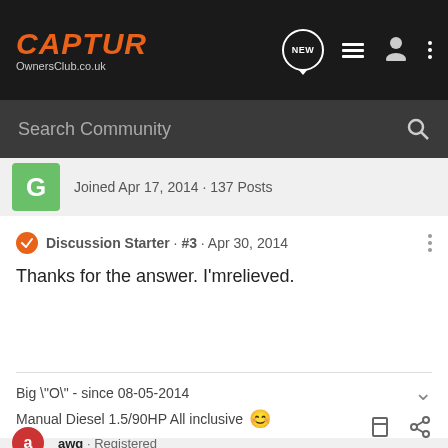CAPTUR OwnersClub.co.uk
Search Community
Joined Apr 17, 2014 · 137 Posts
Discussion Starter · #3 · Apr 30, 2014
Thanks for the answer. I'mrelieved.
Big "O" - since 08-05-2014
Manual Diesel 1.5/90HP All inclusive 🙂
awq · Registered